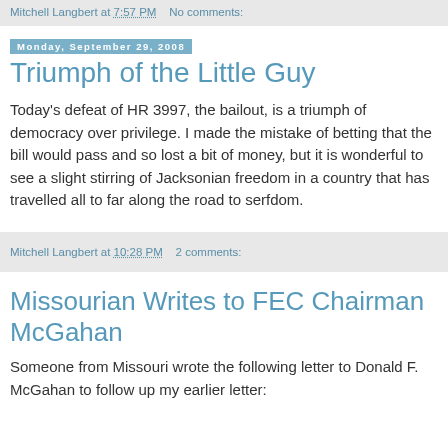Mitchell Langbert at 7:57 PM   No comments:
Monday, September 29, 2008
Triumph of the Little Guy
Today's defeat of HR 3997, the bailout, is a triumph of democracy over privilege. I made the mistake of betting that the bill would pass and so lost a bit of money, but it is wonderful to see a slight stirring of Jacksonian freedom in a country that has travelled all to far along the road to serfdom.
Mitchell Langbert at 10:28 PM   2 comments:
Missourian Writes to FEC Chairman McGahan
Someone from Missouri wrote the following letter to Donald F. McGahan to follow up my earlier letter: